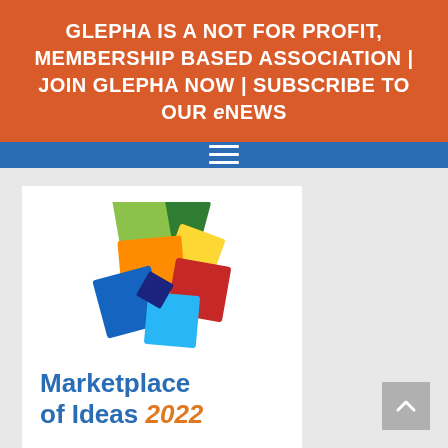GLEPHA IS A NOT FOR PROFIT, MEMBERSHIP BASED ASSOCIATION | JOIN GLEPHA NOW | SUBSCRIBE TO OUR eNEWS
[Figure (other): Blue navigation bar with hamburger menu icon (three horizontal white lines)]
[Figure (logo): Marketplace of Ideas 2022 logo: colorful overlapping diamond/square shapes in green, dark green, yellow, orange, red, blue, light blue, and text 'Marketplace of Ideas 2022' where '2022' is in orange italic]